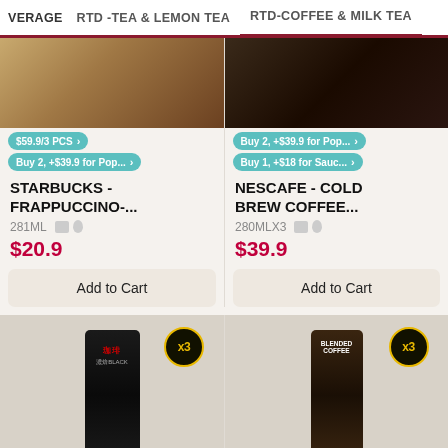VERAGE   RTD -TEA & LEMON TEA   RTD-COFFEE & MILK TEA
[Figure (photo): Starbucks Frappuccino product image with promo tags: $59.9/3 PCS and Buy 2, +$39.9 for Pop...]
STARBUCKS - FRAPPUCCINO-...
281ML
$20.9
Add to Cart
[Figure (photo): Nescafe Cold Brew Coffee product image with promo tags: Buy 2, +$39.9 for Pop... and Buy 1, +$18 for Sauc...]
NESCAFE - COLD BREW COFFEE...
280MLX3
$39.9
Add to Cart
[Figure (photo): Japanese black coffee can with x3 badge, promo tags: Buy 2, +$39.9 for Pop... and Buy 1, +$18 for Sauc...]
[Figure (photo): Blended Coffee can with x3 badge, promo tags: Buy 2, +$39.9 for Pop... and Buy 1, +$18 for Sauc...]